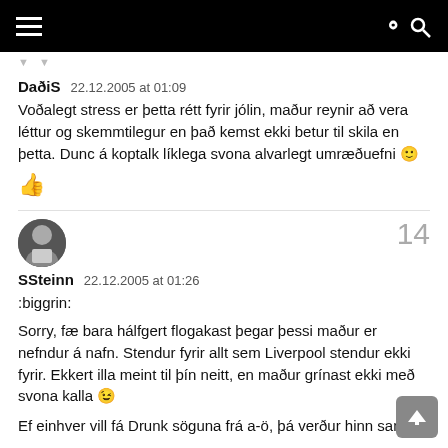navigation bar with hamburger menu and search icon
DaðiS   22.12.2005 at 01:09
Voðalegt stress er þetta rétt fyrir jólin, maður reynir að vera léttur og skemmtilegur en það kemst ekki betur til skila en þetta. Dunc á koptalk líklega svona alvarlegt umræðuefni 🙂
[Figure (illustration): Red thumbs up like icon]
SSteinn   22.12.2005 at 01:26
:biggrin:
Sorry, fæ bara hálfgert flogakast þegar þessi maður er nefndur á nafn. Stendur fyrir allt sem Liverpool stendur ekki fyrir. Ekkert illa meint til þín neitt, en maður grínast ekki með svona kalla 😉
Ef einhver vill fá Drunk söguna frá a-ö, þá verður hinn sami að